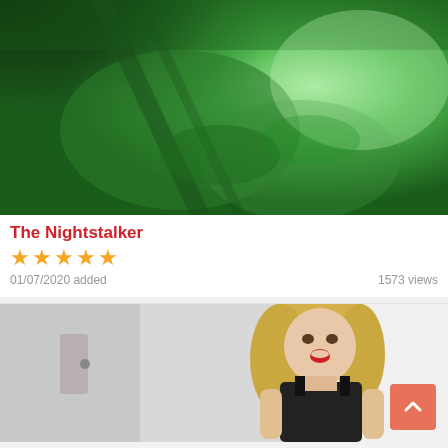[Figure (photo): Night-vision green-tinted video thumbnail showing blurry shapes on a bed or surface]
The Nightstalker
★★★★★
01/07/2020 added    1573 views
[Figure (photo): Video thumbnail showing a blonde woman in dark lingerie in a white room]